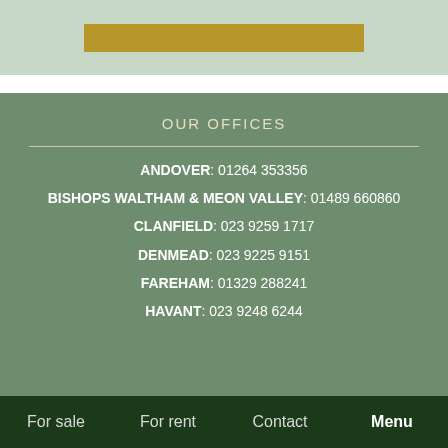[Figure (other): Light green banner with a gold/brown horizontal bar element]
OUR OFFICES
ANDOVER: 01264 353356
BISHOPS WALTHAM & MEON VALLEY: 01489 660860
CLANFIELD: 023 9259 1717
DENMEAD: 023 9225 9151
FAREHAM: 01329 288241
HAVANT: 023 9248 6244
For sale   For rent   Contact   Menu